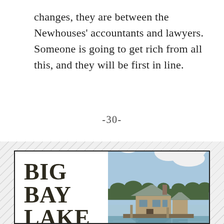changes, they are between the Newhouses' accountants and lawyers. Someone is going to get rich from all this, and they will be first in line.
-30-
[Figure (illustration): Book cover or advertisement for Big Bay Lake, Lumberton, Mississippi. Left half shows large bold text 'BIG BAY LAKE' with 'LUMBERTON MISSISSIPPI' below in spaced capitals. Right half shows a photograph of a lakeside house with clouds and water reflection.]